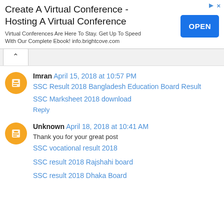[Figure (screenshot): Advertisement banner: 'Create A Virtual Conference - Hosting A Virtual Conference' with OPEN button]
^ (tab/collapse button)
Imran April 15, 2018 at 10:57 PM
SSC Result 2018 Bangladesh Education Board Result
SSC Marksheet 2018 download
Reply
Unknown April 18, 2018 at 10:41 AM
Thank you for your great post
SSC vocational result 2018
SSC result 2018 Rajshahi board
SSC result 2018 Dhaka Board